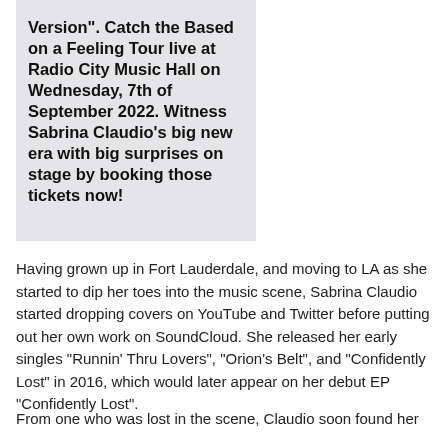Version". Catch the Based on a Feeling Tour live at Radio City Music Hall on Wednesday, 7th of September 2022. Witness Sabrina Claudio's big new era with big surprises on stage by booking those tickets now!
Having grown up in Fort Lauderdale, and moving to LA as she started to dip her toes into the music scene, Sabrina Claudio started dropping covers on YouTube and Twitter before putting out her own work on SoundCloud. She released her early singles "Runnin' Thru Lovers", "Orion's Belt", and "Confidently Lost" in 2016, which would later appear on her debut EP "Confidently Lost".
From one who was lost in the scene, Claudio soon found her